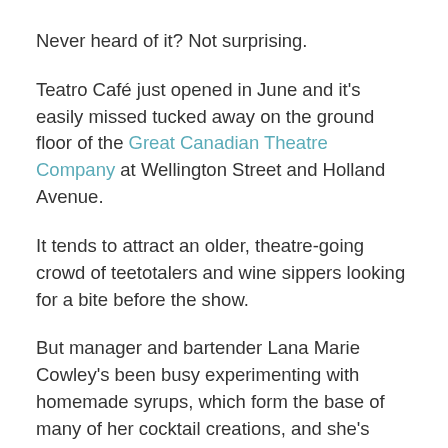Never heard of it? Not surprising.
Teatro Café just opened in June and it's easily missed tucked away on the ground floor of the Great Canadian Theatre Company at Wellington Street and Holland Avenue.
It tends to attract an older, theatre-going crowd of teetotalers and wine sippers looking for a bite before the show.
But manager and bartender Lana Marie Cowley's been busy experimenting with homemade syrups, which form the base of many of her cocktail creations, and she's hoping the venue's clientele will expand in time.
"We want to get that known that we are a